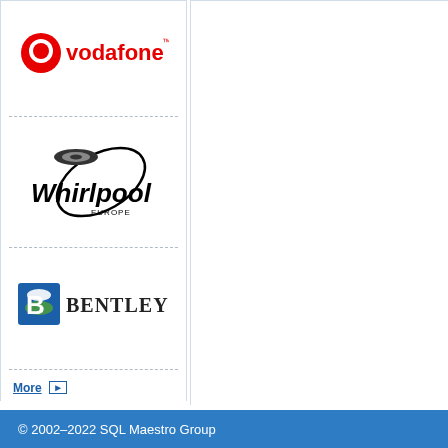[Figure (logo): Vodafone logo with red speech bubble icon and red 'vodafone' text with trademark symbol]
[Figure (logo): Whirlpool Europe logo with oval ring and spiral design above the word Whirlpool with EUROPE subtitle]
[Figure (logo): Bentley Systems logo with blue stylized B icon and BENTLEY text]
More ▶
Become a customer ▶
© 2002–2022 SQL Maestro Group